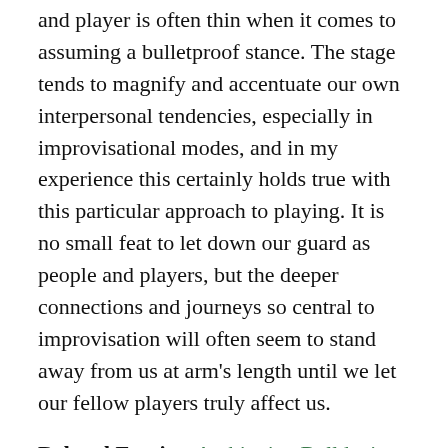and player is often thin when it comes to assuming a bulletproof stance. The stage tends to magnify and accentuate our own interpersonal tendencies, especially in improvisational modes, and in my experience this certainly holds true with this particular approach to playing. It is no small feat to let down our guard as people and players, but the deeper connections and journeys so central to improvisation will often seem to stand away from us at arm's length until we let our fellow players truly affect us.
Related Entries: Ambiguity, Bulldozing, Commandment #5, Commandment #8 Antonyms: Change, Culpability Synonyms: Wimping
Cheers, David Charles.
www.improvdr.com
Join my Facebook group here